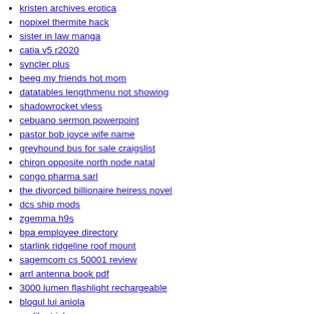kristen archives erotica
nopixel thermite hack
sister in law manga
catia v5 r2020
syncler plus
beeg my friends hot mom
datatables lengthmenu not showing
shadowrocket vless
cebuano sermon powerpoint
pastor bob joyce wife name
greyhound bus for sale craigslist
chiron opposite north node natal
congo pharma sarl
the divorced billionaire heiress novel
dcs ship mods
zgemma h9s
bpa employee directory
starlink ridgeline roof mount
sagemcom cs 50001 review
arrl antenna book pdf
3000 lumen flashlight rechargeable
blogul lui aniola
replika tricks
https drive google com drive folders
iptv smarters code telegram
...